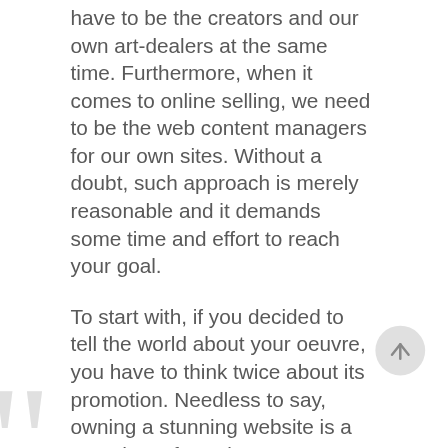have to be the creators and our own art-dealers at the same time. Furthermore, when it comes to online selling, we need to be the web content managers for our own sites. Without a doubt, such approach is merely reasonable and it demands some time and effort to reach your goal.

To start with, if you decided to tell the world about your oeuvre, you have to think twice about its promotion. Needless to say, owning a stunning website is a must-have for artists!